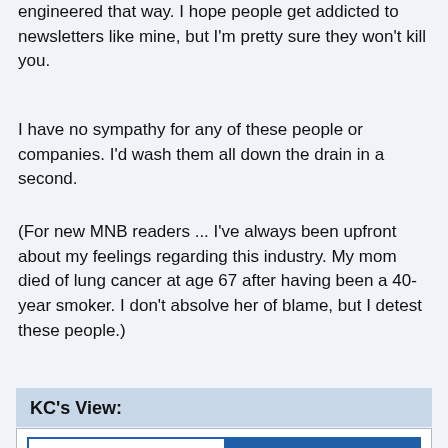engineered that way. I hope people get addicted to newsletters like mine, but I'm pretty sure they won't kill you.
I have no sympathy for any of these people or companies. I'd wash them all down the drain in a second.
(For new MNB readers ... I've always been upfront about my feelings regarding this industry. My mom died of lung cancer at age 67 after having been a 40-year smoker. I don't absolve her of blame, but I detest these people.)
KC's View:
BACK TO HOME | WHAT'S YOUR VIEW?